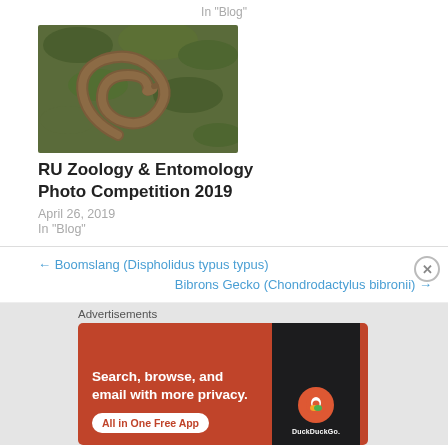In "Blog"
[Figure (photo): Coiled brown snake among green foliage]
RU Zoology & Entomology Photo Competition 2019
April 26, 2019
In "Blog"
← Boomslang (Dispholidus typus typus)
Bibrons Gecko (Chondrodactylus bibronii) →
Advertisements
[Figure (screenshot): DuckDuckGo advertisement banner: 'Search, browse, and email with more privacy. All in One Free App' with phone graphic and DuckDuckGo logo]